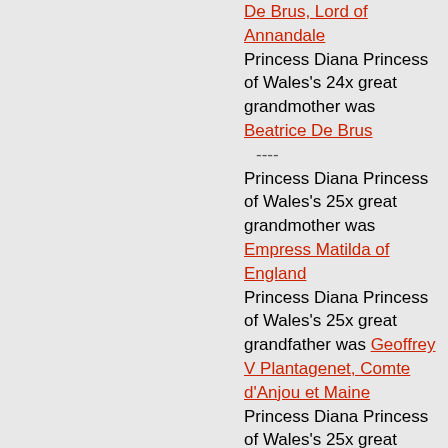De Brus, Lord of Annandale Princess Diana Princess of Wales's 24x great grandmother was Beatrice De Brus
----
Princess Diana Princess of Wales's 25x great grandmother was Empress Matilda of England
Princess Diana Princess of Wales's 25x great grandfather was Geoffrey V Plantagenet, Comte d'Anjou et Maine
Princess Diana Princess of Wales's 25x great grandfather is Robert Bruce
Princess Diana Princess of Wales's 25x great grandmother is Euphemia Bruce
----
Princess Diana Princess of Wales's 26x great grandfather was King Henry I Of England
Princess Diana Princess of Wales's 26x great grandmother was Queen Consort Matilda Of England